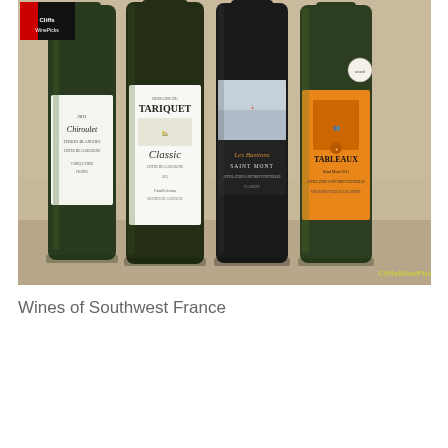[Figure (photo): Four wine bottles from Southwest France arranged side by side on a granite countertop. From left to right: Domaine Chiroulet Terres Blanches Cotes de Gascogne (white label), Domaine du Tariquet Classic Cotes de Gascogne (white label with estate illustration), Les Bastions Saint Mont (dark label), and Tableaux Saint Mont 2011 (orange/yellow label). A CliffsWinePicks logo appears in the top-left corner and CliffsWinePicks.com watermark appears in the bottom-right.]
Wines of Southwest France